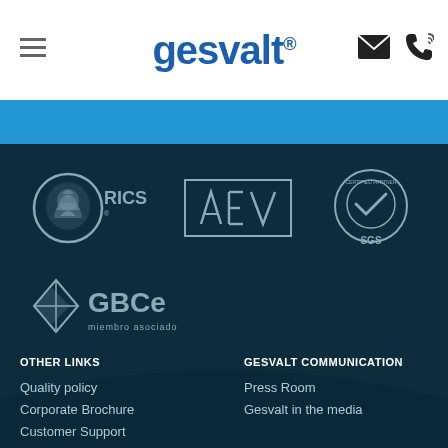gesvalt® (with menu icon and contact icons)
[Figure (logo): RICS logo - lion with globe and RICS text]
[Figure (logo): AEV logo - geometric letters A E V in rectangle]
[Figure (logo): SGS ISO certification circular logo]
[Figure (logo): GBCe logo - diamond shape with GBCe text and 'miembro asociado']
OTHER LINKS
GESVALT COMMUNICATION
Quality policy
Corporate Brochure
Customer Support
Press Room
Gesvalt in the media